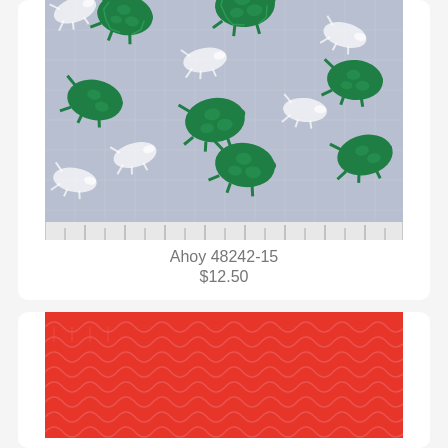[Figure (photo): Fabric swatch with sea turtle pattern on light blue/grey background with white turtle outlines and green turtle shells. Has a ruler along the bottom edge.]
Ahoy 48242-15
$12.50
[Figure (photo): Fabric swatch with red background and repeating scallop/wave pattern in lighter pink/white lines forming arch shapes.]